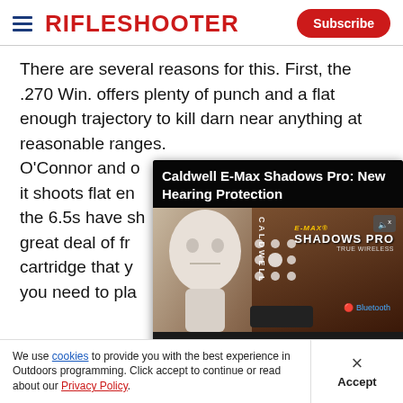RifleShooter | Subscribe
There are several reasons for this. First, the .270 Win. offers plenty of punch and a flat enough trajectory to kill darn near anything at reasonable ranges. O'Connor and o... it shoots flat en... the 6.5s have sh... great deal of fr... cartridge that y... you need to pla...
[Figure (screenshot): Embedded video player showing 'Caldwell E-Max Shadows Pro: New Hearing Protection' with a mannequin head wearing earbuds and product packaging. Video duration 04:18, currently paused at 00:00.]
We use cookies to provide you with the best experience in Outdoors programming. Click accept to continue or read about our Privacy Policy.